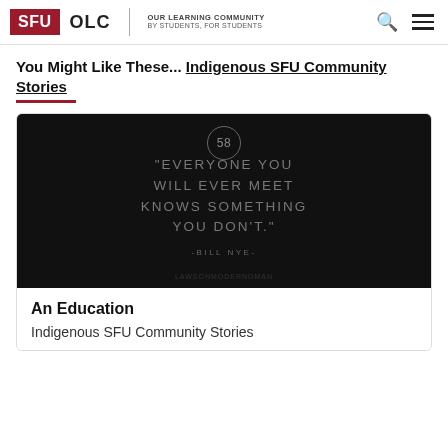SFU OLC | OUR LEARNING COMMUNITY BY STUDENTS, FOR STUDENTS
You Might Like These... Indigenous SFU Community Stories
[Figure (photo): Dark/black background with a circled number 58 at top center, and a motivational quote in gray uppercase text: '"EVERYONE YOU WILL EVER MEET KNOWS SOMETHING YOU DON'T."' with attribution '-BILL NYE-' below, and watermark 'LAWSONMODERNOMAN' at the bottom.]
An Education
Indigenous SFU Community Stories